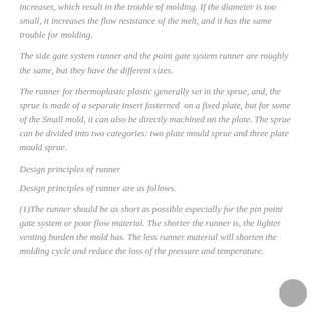increases, which result in the trouble of molding. If the diameter is too small, it increases the flow resistance of the melt, and it has the same trouble for molding.
The side gate system runner and the point gate system runner are roughly the same, but they have the different sizes.
The runner for thermoplastic plastic generally set in the sprue, and, the sprue is made of a separate insert fasterned on a fixed plate, but for some of the Small mold, it can also be directly machined on the plate. The sprue can be divided into two categories: two plate mould sprue and three plate mould sprue.
Design principles of runner
Design principles of runner are as follows.
(1)The runner should be as short as possible especially for the pin point gate system or poor flow material. The shorter the runner is, the lighter venting burden the mold has. The less runner material will shorten the molding cycle and reduce the loss of the pressure and temperature.